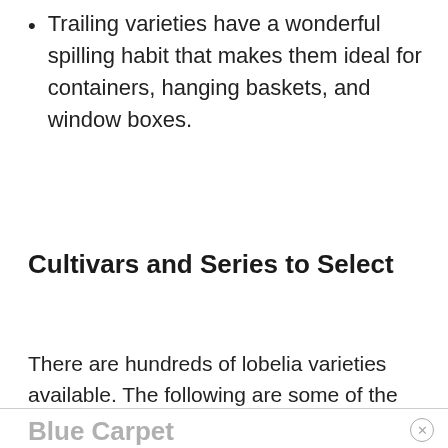Trailing varieties have a wonderful spilling habit that makes them ideal for containers, hanging baskets, and window boxes.
Cultivars and Series to Select
There are hundreds of lobelia varieties available. The following are some of the most popular for the home gardener.
Blue Carpet